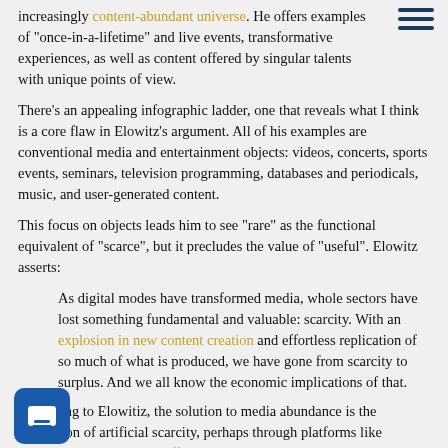increasingly content-abundant universe. He offers examples of "once-in-a-lifetime" and live events, transformative experiences, as well as content offered by singular talents with unique points of view.
There's an appealing infographic ladder, one that reveals what I think is a core flaw in Elowitz's argument. All of his examples are conventional media and entertainment objects: videos, concerts, sports events, seminars, television programming, databases and periodicals, music, and user-generated content.
This focus on objects leads him to see "rare" as the functional equivalent of "scarce", but it precludes the value of "useful". Elowitz asserts:
As digital modes have transformed media, whole sectors have lost something fundamental and valuable: scarcity. With an explosion in new content creation and effortless replication of so much of what is produced, we have gone from scarcity to surplus. And we all know the economic implications of that.
According to Elowitiz, the solution to media abundance is the restoration of artificial scarcity, perhaps through platforms like Wetpaint, which drives traffic via Twitter and Facebook. This might work for a limited time, but content creation, management and dissemination now take place with few barriers to entry. Any short-term